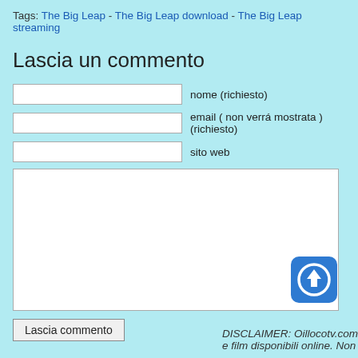Tags: The Big Leap - The Big Leap download - The Big Leap streaming
Lascia un commento
nome (richiesto)
email ( non verrá mostrata ) (richiesto)
sito web
[Figure (illustration): Blue rounded square icon with white upward arrow circle]
Lascia commento
DISCLAIMER: Oillocotv.com e film disponibili online. Non